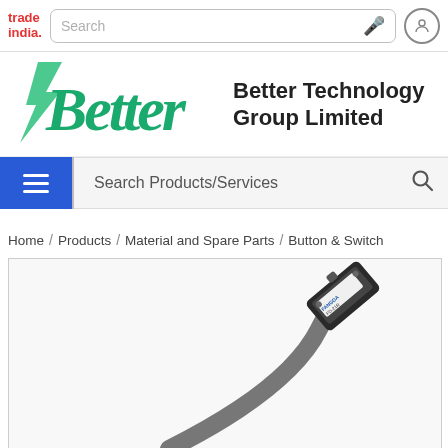[Figure (logo): TradeIndia website top navigation bar with red TradeIndia logo, search bar, microphone icon, and user profile icon]
[Figure (logo): Better Technology Group Limited company logo — stylized green italic 'Better' text with lightning bolt and bold company name]
[Figure (screenshot): Search Products/Services bar with blue hamburger menu button and search icon]
Home / Products / Material and Spare Parts / Button & Switch
[Figure (photo): Product photo showing a Fangda FD-21R magnetic sensor/switch with grey cable on white background]